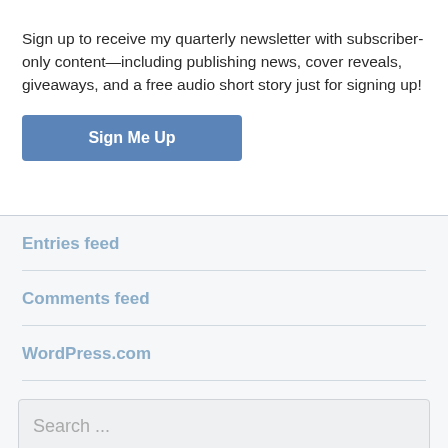×
Sign up to receive my quarterly newsletter with subscriber-only content—including publishing news, cover reveals, giveaways, and a free audio short story just for signing up!
Sign Me Up
Entries feed
Comments feed
WordPress.com
Search ...